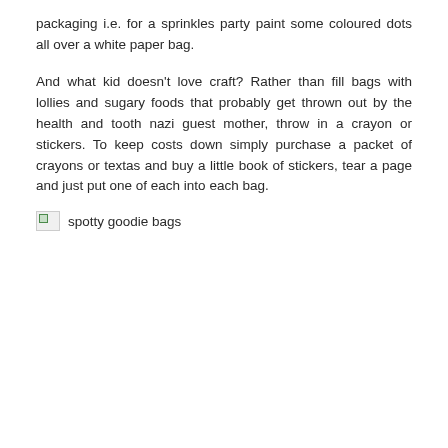packaging i.e. for a sprinkles party paint some coloured dots all over a white paper bag.
And what kid doesn't love craft? Rather than fill bags with lollies and sugary foods that probably get thrown out by the health and tooth nazi guest mother, throw in a crayon or stickers. To keep costs down simply purchase a packet of crayons or textas and buy a little book of stickers, tear a page and just put one of each into each bag.
[Figure (photo): Broken image placeholder with alt text 'spotty goodie bags']